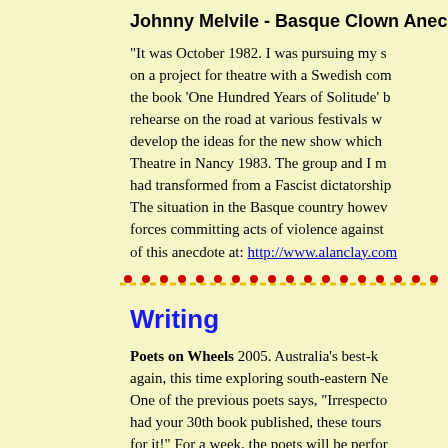Johnny Melvile - Basque Clown Anecdo
"It was October 1982. I was pursuing my s on a project for theatre with a Swedish com the book 'One Hundred Years of Solitude' rehearse on the road at various festivals w develop the ideas for the new show which Theatre in Nancy 1983. The group and I m had transformed from a Fascist dictatorship The situation in the Basque country howev forces committing acts of violence against of this anecdote at: http://www.alanclay.co
[Figure (other): Decorative divider: a horizontal dashed line in yellow/gold with red dots above it]
Writing
Poets on Wheels 2005. Australia's best-k again, this time exploring south-eastern Ne One of the previous poets says, "Irrespecto had your 30th book published, these tours for it!" For a week, the poets will be perfor from pubs to schools. You'll learn a lot, sell need to: have some experience in reading be a member of the Poets Union (you can f li i i l id t f NSW